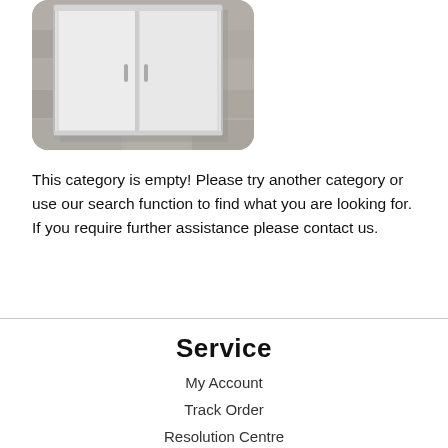[Figure (photo): A white metal cabinet with sliding doors mounted on a stone/concrete wall]
This category is empty! Please try another category or use our search function to find what you are looking for. If you require further assistance please contact us.
Service
My Account
Track Order
Resolution Centre
About Us